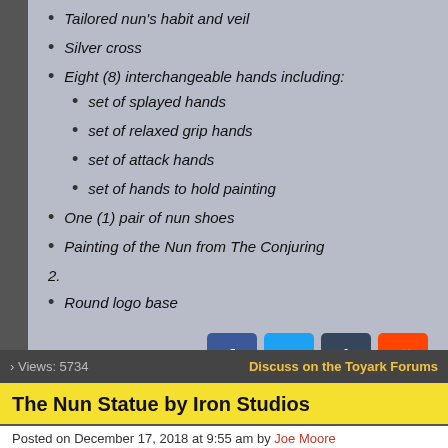Tailored nun's habit and veil
Silver cross
Eight (8) interchangeable hands including:
set of splayed hands
set of relaxed grip hands
set of attack hands
set of hands to hold painting
One (1) pair of nun shoes
Painting of the Nun from The Conjuring
2.
Round logo base
[Figure (other): Social media share buttons: Facebook, Twitter, Tumblr, Reddit]
› Views: 5734
Discuss on the Toyark Forums
The Nun Statue by Iron Studios
Posted on December 17, 2018 at 9:55 am by Joe Moore